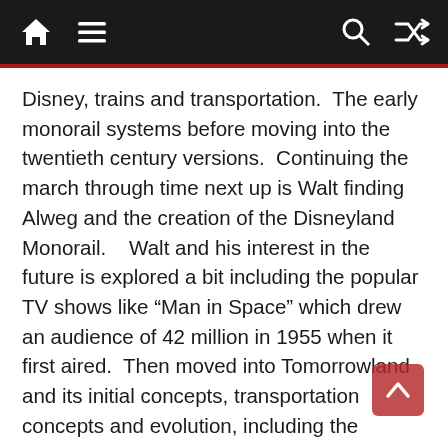Navigation bar with home, menu, search, and shuffle icons
Disney, trains and transportation.  The early monorail systems before moving into the twentieth century versions.  Continuing the march through time next up is Walt finding Alweg and the creation of the Disneyland Monorail.    Walt and his interest in the future is explored a bit including the popular TV shows like “Man in Space” which drew an audience of 42 million in 1955 when it first aired.  Then moved into Tomorrowland and its initial concepts, transportation concepts and evolution, including the Disneyland Viewliner.
The second portion of the book looks at the evolution of the Disney Monorail systems.   Starting with the second grand opening of Disneyland that featured the Disneyland Monorail as one of six new attractions and then through the years as it the